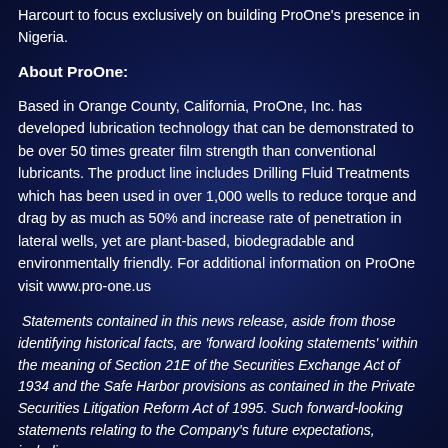Harcourt to focus exclusively on building ProOne's presence in Nigeria.
About ProOne:
Based in Orange County, California, ProOne, Inc. has developed lubrication technology that can be demonstrated to be over 50 times greater film strength than conventional lubricants. The product line includes Drilling Fluid Treatments which has been used in over 1,000 wells to reduce torque and drag by as much as 50% and increase rate of penetration in lateral wells, yet are plant-based, biodegradable and environmentally friendly. For additional information on ProOne visit www.pro-one.us
Statements contained in this news release, aside from those identifying historical facts, are 'forward looking statements' within the meaning of Section 21E of the Securities Exchange Act of 1934 and the Safe Harbor provisions as contained in the Private Securities Litigation Reform Act of 1995. Such forward-looking statements relating to the Company's future expectations, including